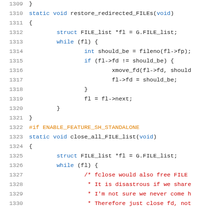Source code listing, lines 1309–1330
1309  }
1310  static void restore_redirected_FILEs(void)
1311  {
1312      struct FILE_list *fl = G.FILE_list;
1313      while (fl) {
1314          int should_be = fileno(fl->fp);
1315          if (fl->fd != should_be) {
1316              xmove_fd(fl->fd, should_
1317              fl->fd = should_be;
1318          }
1319          fl = fl->next;
1320      }
1321  }
1322  #if ENABLE_FEATURE_SH_STANDALONE
1323  static void close_all_FILE_list(void)
1324  {
1325      struct FILE_list *fl = G.FILE_list;
1326      while (fl) {
1327          /* fclose would also free FILE
1328           * It is disastrous if we share
1329           * I'm not sure we never come h
1330           * Therefore just close fd, not